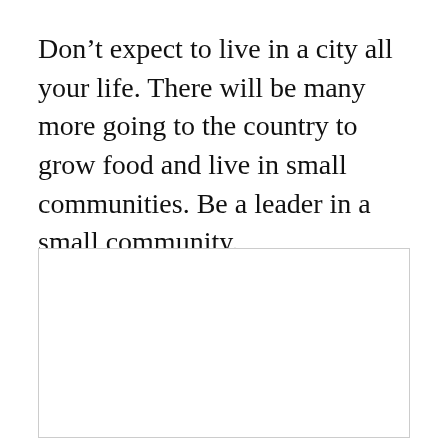Don't expect to live in a city all your life. There will be many more going to the country to grow food and live in small communities. Be a leader in a small community.
[Figure (other): Empty rectangular box with a light gray border, no content inside.]